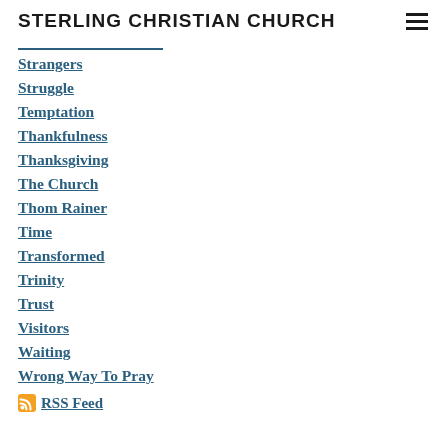STERLING CHRISTIAN CHURCH
[partial link - truncated]
Strangers
Struggle
Temptation
Thankfulness
Thanksgiving
The Church
Thom Rainer
Time
Transformed
Trinity
Trust
Visitors
Waiting
Wrong Way To Pray
RSS Feed